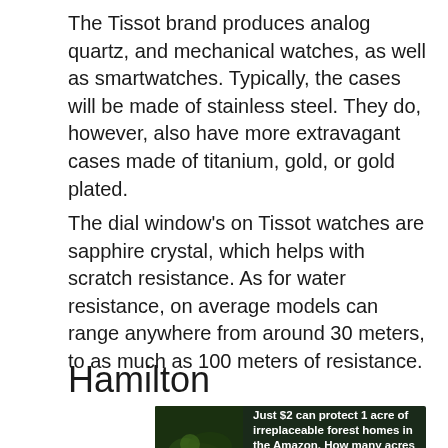The Tissot brand produces analog quartz, and mechanical watches, as well as smartwatches. Typically, the cases will be made of stainless steel. They do, however, also have more extravagant cases made of titanium, gold, or gold plated.
The dial window’s on Tissot watches are sapphire crystal, which helps with scratch resistance. As for water resistance, on average models can range anywhere from around 30 meters, to as much as 100 meters of resistance.
Hamilton
[Figure (infographic): Advertisement banner with dark forest background showing a frog/insect, text reading 'Just $2 can protect 1 acre of irreplaceable forest homes in the Amazon. How many acres are you willing to protect?' and a green 'PROTECT FORESTS NOW' button.]